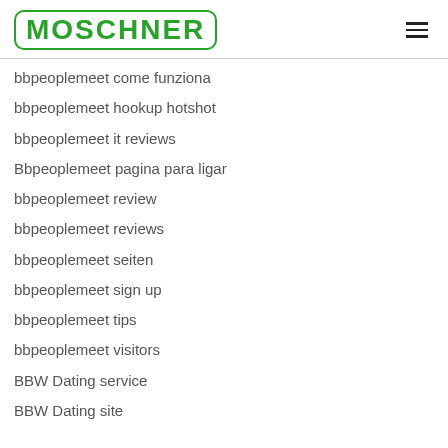MOSCHNER
bbpeoplemeet come funziona
bbpeoplemeet hookup hotshot
bbpeoplemeet it reviews
Bbpeoplemeet pagina para ligar
bbpeoplemeet review
bbpeoplemeet reviews
bbpeoplemeet seiten
bbpeoplemeet sign up
bbpeoplemeet tips
bbpeoplemeet visitors
BBW Dating service
BBW Dating site